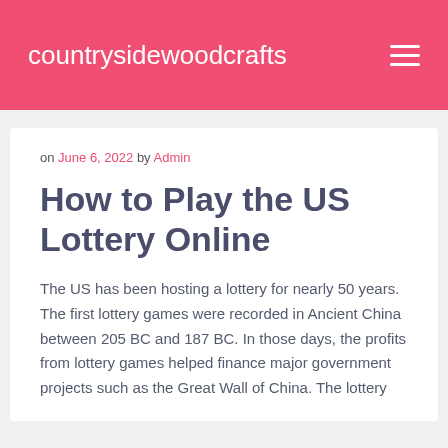countrysidewoodcrafts
on June 6, 2022 by Admin
How to Play the US Lottery Online
The US has been hosting a lottery for nearly 50 years. The first lottery games were recorded in Ancient China between 205 BC and 187 BC. In those days, the profits from lottery games helped finance major government projects such as the Great Wall of China. The lottery